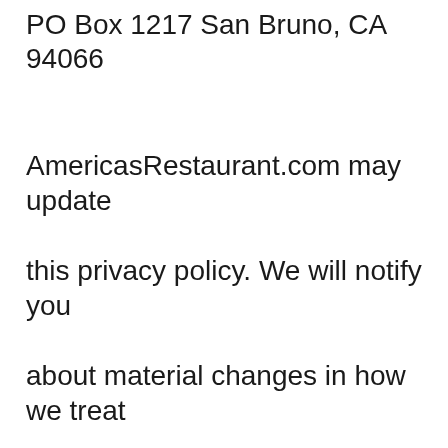PO Box 1217 San Bruno, CA 94066
AmericasRestaurant.com may update this privacy policy. We will notify you about material changes in how we treat personal information by placing a notice